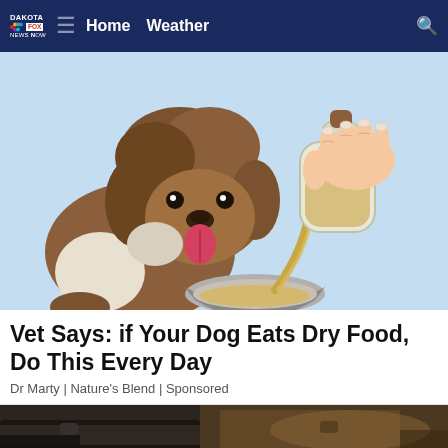Dakota Fox NBC Now — Home Weather [search icon]
[Figure (illustration): Illustration of a fluffy brown and white dog looking at a bowl while a hand pours liquid from a glass bottle into the bowl]
Vet Says: if Your Dog Eats Dry Food, Do This Every Day
Dr Marty | Nature's Blend | Sponsored
[Figure (photo): Partial photo of a dirty/dusty vehicle exterior, dark and brown tones visible at bottom of page]